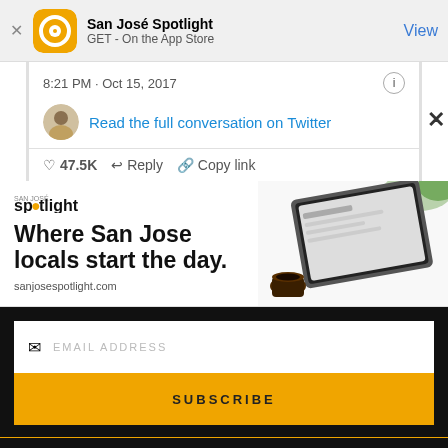[Figure (screenshot): App Store banner with San José Spotlight app icon, name, GET - On the App Store text, and View button]
8:21 PM · Oct 15, 2017
Read the full conversation on Twitter
47.5K   Reply   Copy link
[Figure (advertisement): San José Spotlight ad: 'Where San Jose locals start the day.' with tablet image and sanjosespotlight.com URL]
EMAIL ADDRESS
SUBSCRIBE
Thanks, I'm not interested or already a subscriber